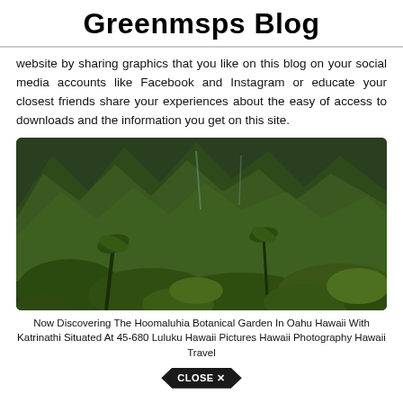Greenmsps Blog
website by sharing graphics that you like on this blog on your social media accounts like Facebook and Instagram or educate your closest friends share your experiences about the easy of access to downloads and the information you get on this site.
[Figure (photo): Lush tropical botanical garden with tall green mountains in the background covered in dense vegetation, with palm trees and tropical plants in the foreground.]
Now Discovering The Hoomaluhia Botanical Garden In Oahu Hawaii With Katrinathi Situated At 45-680 Luluku Hawaii Pictures Hawaii Photography Hawaii Travel